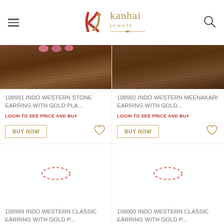[Figure (logo): Kanhai Jewels logo with stylized KJ letters and brand name]
[Figure (photo): Product image: Indo Western Stone Earring with gold plating on wooden background]
108991 INDO WESTERN STONE EARRING WITH GOLD PLA...
LOGIN TO SEE PRICE AND BUY
BUY NOW
[Figure (photo): Product image: Indo Western Meenakari Earring with gold on wooden background]
108992 INDO WESTERN MEENAKARI EARRING WITH GOLD...
LOGIN TO SEE PRICE AND BUY
BUY NOW
[Figure (photo): Product image loading placeholder for Indo Western Classic Earring 108999]
108999 INDO WESTERN CLASSIC EARRING WITH GOLD P...
[Figure (photo): Product image loading placeholder for Indo Western Classic Earring 109000]
109000 INDO WESTERN CLASSIC EARRING WITH GOLD P...